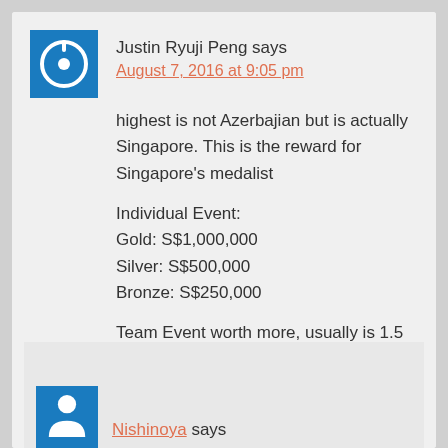Justin Ryuji Peng says
August 7, 2016 at 9:05 pm
highest is not Azerbajian but is actually Singapore. This is the reward for Singapore's medalist
Individual Event:
Gold: S$1,000,000
Silver: S$500,000
Bronze: S$250,000
Team Event worth more, usually is 1.5 times more than individual rewards, but it will be shared among the team members.
Nishinoya says